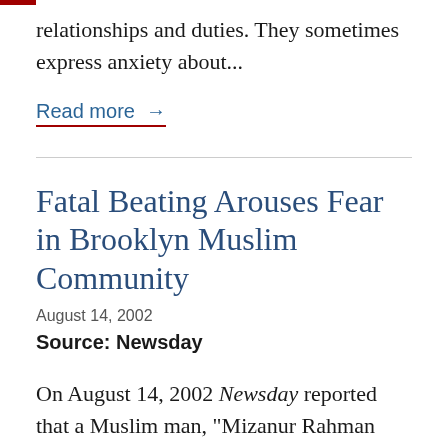relationships and duties. They sometimes express anxiety about...
Read more →
Fatal Beating Arouses Fear in Brooklyn Muslim Community
August 14, 2002
Source: Newsday
On August 14, 2002 Newsday reported that a Muslim man, "Mizanur Rahman was beaten to death on a Brooklyn sidewalk Sunday night...